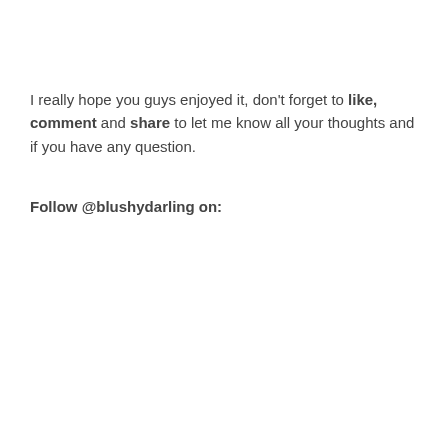I really hope you guys enjoyed it, don't forget to like, comment and share to let me know all your thoughts and if you have any question.
Follow @blushydarling on: